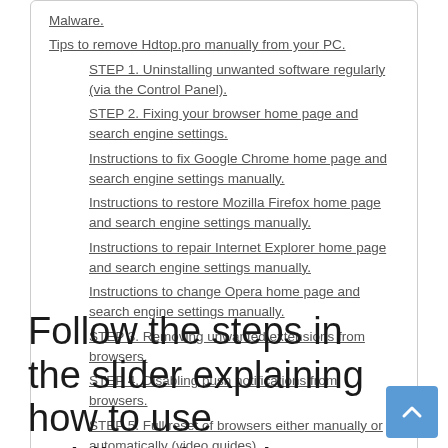Malware.
Tips to remove Hdtop.pro manually from your PC.
STEP 1. Uninstalling unwanted software regularly (via the Control Panel).
STEP 2. Fixing your browser home page and search engine settings.
Instructions to fix Google Chrome home page and search engine settings manually.
Instructions to restore Mozilla Firefox home page and search engine settings manually.
Instructions to repair Internet Explorer home page and search engine settings manually.
Instructions to change Opera home page and search engine settings manually.
STEP 3. Removing unwanted extensions from browsers.
STEP 4. Disabling push notifications from browsers.
STEP 5. Full reset of browsers either manually or automatically (video guides).
Follow the steps in the slider explaining how to use GridinSoft Anti-Malware